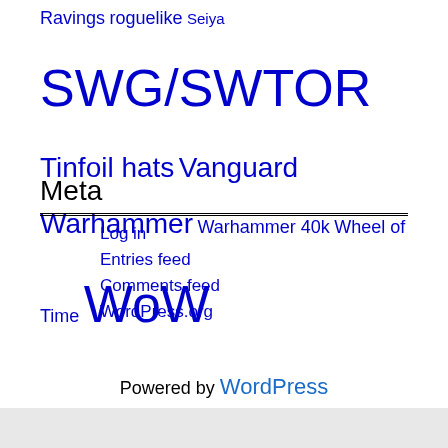Ravings roguelike Seiya SWG/SWTOR Tinfoil hats Vanguard Warhammer Warhammer 40k Wheel of Time WoW
Meta
Log in
Entries feed
Comments feed
WordPress.org
Powered by WordPress